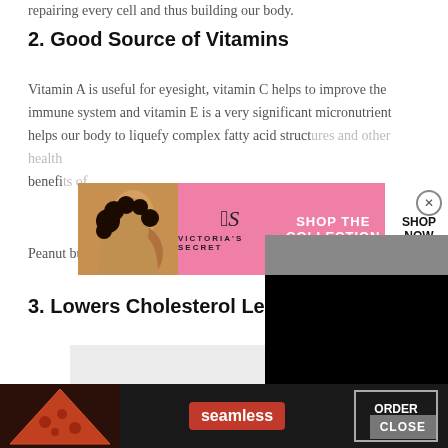repairing every cell and thus building our body.
2. Good Source of Vitamins
Vitamin A is useful for eyesight, vitamin C helps to improve the immune system and vitamin E is a very significant micronutrient helps our body to liquefy complex fatty acid structures and other health benefits of peanut butter. Peanut butter.
[Figure (screenshot): Victoria's Secret advertisement banner with pink background, model photo, VS logo, 'SHOP THE COLLECTION' text, and 'SHOP NOW' button]
3. Lowers Cholesterol Le…
[Figure (screenshot): Gray and black overlay/video popup panel covering right portion of page]
[Figure (screenshot): Light gray image placeholder rectangle below section 3 header]
[Figure (screenshot): Seamless food delivery advertisement at bottom with pizza image, red seamless logo, and ORDER NOW button]
CLOSE